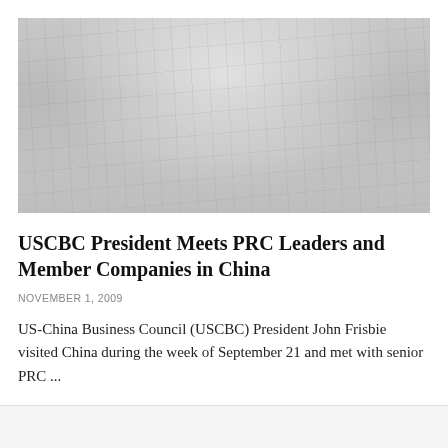[Figure (photo): Black and white photograph of a large banquet or conference hall filled with people seated at round tables, taken from an elevated angle. The scene shows a formal event with many attendees.]
USCBC President Meets PRC Leaders and Member Companies in China
NOVEMBER 1, 2009
US-China Business Council (USCBC) President John Frisbie visited China during the week of September 21 and met with senior PRC ...